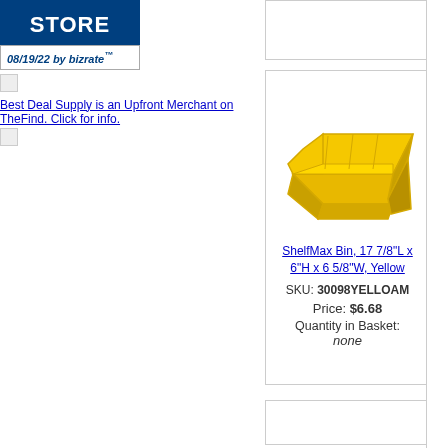[Figure (logo): Store badge with blue background showing STORE text in white]
08/19/22 by bizrate
Best Deal Supply is an Upfront Merchant on TheFind. Click for info.
[Figure (logo): Facebook logo icon - blue square with white F]
[Figure (photo): Yellow ShelfMax plastic storage bin]
ShelfMax Bin, 17 7/8"L x 6"H x 6 5/8"W, Yellow
SKU: 30098YELLOAM
Price: $6.68
Quantity in Basket: none